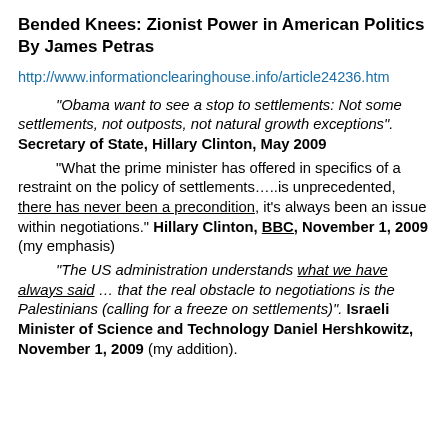Bended Knees: Zionist Power in American Politics By James Petras
http://www.informationclearinghouse.info/article24236.htm
“Obama want to see a stop to settlements: Not some settlements, not outposts, not natural growth exceptions”. Secretary of State, Hillary Clinton, May 2009
“What the prime minister has offered in specifics of a restraint on the policy of settlements…..is unprecedented, there has never been a precondition, it’s always been an issue within negotiations.” Hillary Clinton, BBC, November 1, 2009 (my emphasis)
“The US administration understands what we have always said … that the real obstacle to negotiations is the Palestinians (calling for a freeze on settlements)”. Israeli Minister of Science and Technology Daniel Hershkowitz, November 1, 2009 (my addition).